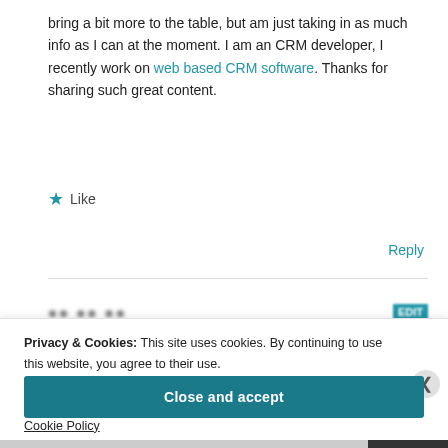bring a bit more to the table, but am just taking in as much info as I can at the moment. I am an CRM developer, I recently work on web based CRM software. Thanks for sharing such great content.
★ Like
Reply
Privacy & Cookies: This site uses cookies. By continuing to use this website, you agree to their use.
To find out more, including how to control cookies, see here: Cookie Policy
Close and accept